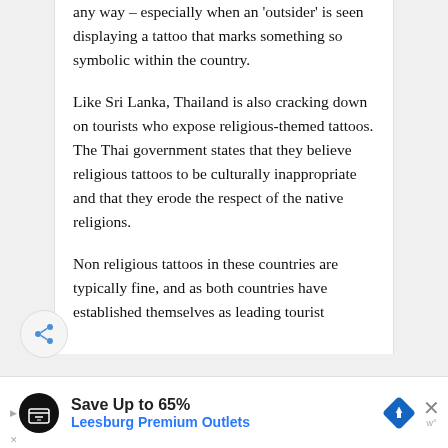any way – especially when an 'outsider' is seen displaying a tattoo that marks something so symbolic within the country.
Like Sri Lanka, Thailand is also cracking down on tourists who expose religious-themed tattoos. The Thai government states that they believe religious tattoos to be culturally inappropriate and that they erode the respect of the native religions.
Non religious tattoos in these countries are typically fine, and as both countries have established themselves as leading tourist
[Figure (other): Share button icon – circular grey button with share/network icon in blue]
[Figure (other): Advertisement banner: 'Save Up to 65% Leesburg Premium Outlets' with black circular logo and blue arrow road sign icon]